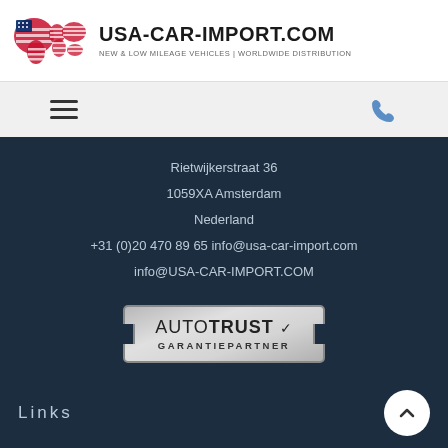[Figure (logo): USA-CAR-IMPORT.COM logo with world map graphic overlaid with American flag colors (red, white, blue). Brand name in bold dark text, subtitle: NEW & LOW MILEAGE VEHICLES | WORLDWIDE DISTRIBUTION]
[Figure (infographic): Navigation bar with hamburger menu icon on left and phone icon on right, light gray background]
Rietwijkerstraat 36
1059XA Amsterdam
Nederland
+31 (0)20 470 89 65 info@usa-car-import.com
info@USA-CAR-IMPORT.COM
[Figure (logo): AUTOTRUST GARANTIEPARTNER badge/logo in silver/gray tones with decorative border cutouts]
Links